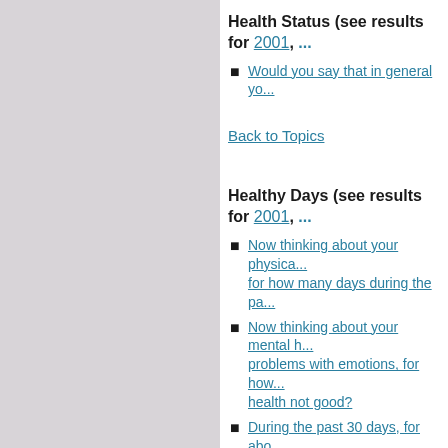Health Status (see results for 2001, ...)
Would you say that in general yo...
Back to Topics
Healthy Days (see results for 2001, ...)
Now thinking about your physical... for how many days during the pa...
Now thinking about your mental ... problems with emotions, for how... health not good?
During the past 30 days, for abo... keep you from doing your usual a...
Back to Topics
Health Care Access (see results for ...
Do you have any kind of health c... plans such as HMOs, or govern...